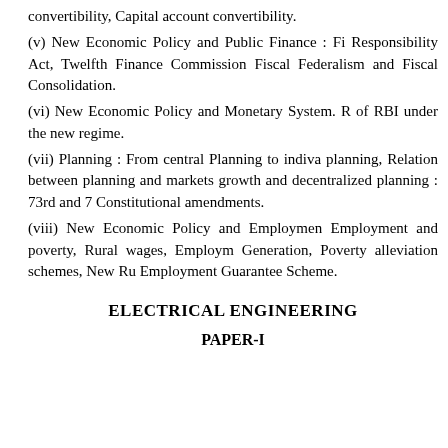convertibility, Capital account convertibility.
(v) New Economic Policy and Public Finance : Fi Responsibility Act, Twelfth Finance Commission Fiscal Federalism and Fiscal Consolidation.
(vi) New Economic Policy and Monetary System. R of RBI under the new regime.
(vii) Planning : From central Planning to indiva planning, Relation between planning and markets growth and decentralized planning : 73rd and 7 Constitutional amendments.
(viii) New Economic Policy and Employment Employment and poverty, Rural wages, Employm Generation, Poverty alleviation schemes, New Ru Employment Guarantee Scheme.
ELECTRICAL ENGINEERING
PAPER-I